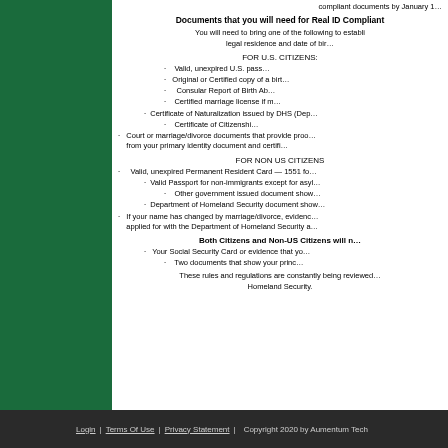compliant documents by January 1…
Documents that you will need for Real ID Compliant
You will need to bring one of the following to establish legal residence and date of bir…
FOR U.S. CITIZENS:
· Valid, unexpired U.S. pass…
· Original or Certified copy of a birth…
· Consular Report of Birth Ab…
· Certified marriage license if m…
· Certificate of Naturalization issued by DHS (Dep…
· Certificate of Citizenship…
· Court or marriage/divorce documents that provide proo… from your primary identity document and certifi…
FOR NON US CITIZENS
· Valid, unexpired Permanent Resident Card — 1551 fo…
· Valid Passport for non-immigrants except for asyl…
· Other government issued document show…
· Department of Homeland Security document show…
· If your name has changed by marriage/divorce, evidenc… applied for with the Department of Homeland Security a…
Both Citizens and Non-US Citizens will n…
· Your Social Security Card or evidence that yo…
· Two documents that show your princ…
These rules and regulations are constantly being reviewed… Homeland Security.
Login | Terms Of Use | Privacy Statement | Copyright 2020 by Aumentum Tech